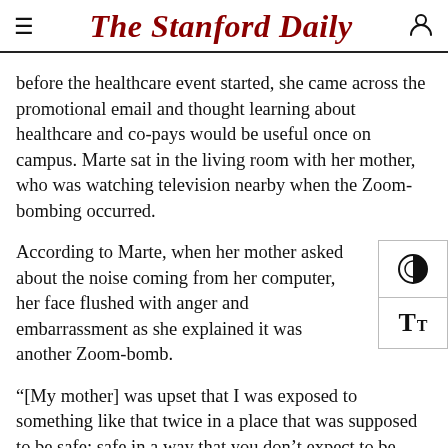The Stanford Daily
before the healthcare event started, she came across the promotional email and thought learning about healthcare and co-pays would be useful once on campus. Marte sat in the living room with her mother, who was watching television nearby when the Zoom-bombing occurred.
According to Marte, when her mother asked about the noise coming from her computer, her face flushed with anger and embarrassment as she explained it was another Zoom-bomb.
“[My mother] was upset that I was exposed to something like that twice in a place that was supposed to be safe; safe in a way that you don’t expect to be screamed at or called a derogatory term when you join a math class or healthcare